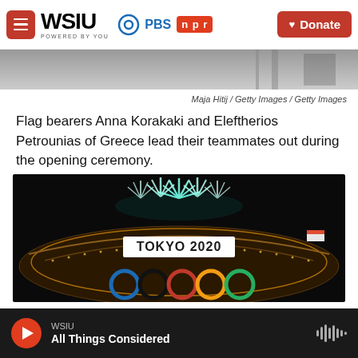WSIU POWERED BY YOU | PBS | npr | Donate
[Figure (photo): Partial photo of Olympic athletes, cropped at top of page]
Maja Hitij / Getty Images / Getty Images
Flag bearers Anna Korakaki and Eleftherios Petrounias of Greece lead their teammates out during the opening ceremony.
[Figure (photo): Tokyo 2020 Olympic Stadium at night with fireworks and Olympic rings in foreground]
WSIU | All Things Considered